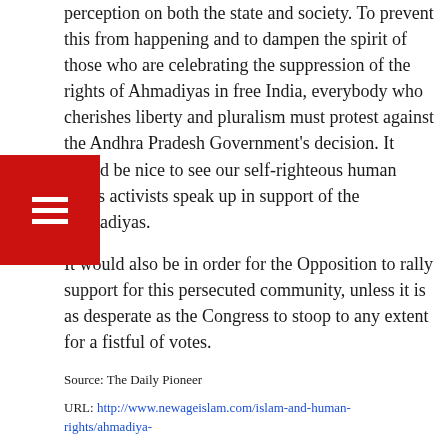perception on both the state and society. To prevent this from happening and to dampen the spirit of those who are celebrating the suppression of the rights of Ahmadiyas in free India, everybody who cherishes liberty and pluralism must protest against the Andhra Pradesh Government's decision. It would be nice to see our self-righteous human rights activists speak up in support of the Ahmadiyas.
It would also be in order for the Opposition to rally support for this persecuted community, unless it is as desperate as the Congress to stoop to any extent for a fistful of votes.
Source: The Daily Pioneer
URL: http://www.newageislam.com/islam-and-human-rights/ahmadiya-